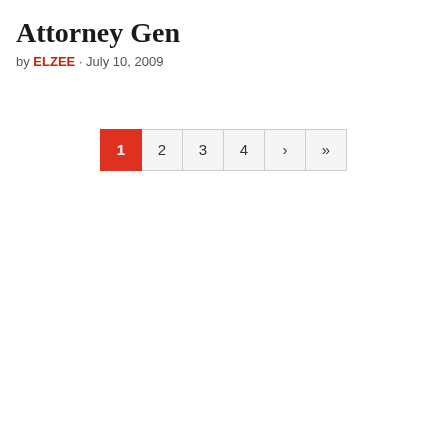Attorney Gen
by ELZEE · July 10, 2009
1 2 3 4 › »